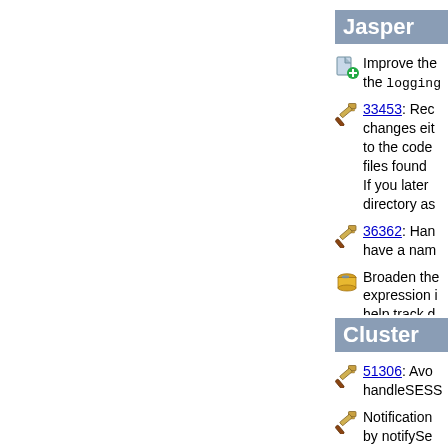Jasper
Improve the logging module
33453: Rec changes either to the code files found i. If you later directory as
36362: Han have a nam
Broaden the expression i help track d
Cluster
51306: Avo handleSESS
Notification by notifySe (markt)
The change cluster. This